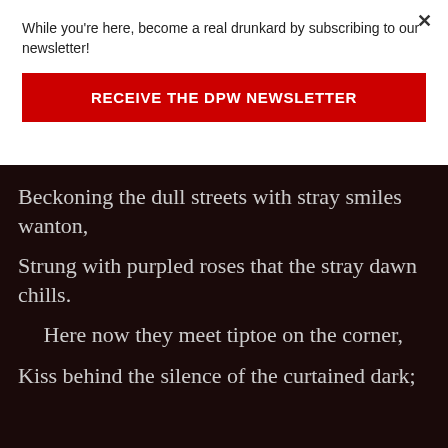While you're here, become a real drunkard by subscribing to our newsletter!
RECEIVE THE DPW NEWSLETTER
Beckoning the dull streets with stray smiles wanton,
Strung with purpled roses that the stray dawn chills.
Here now they meet tiptoe on the corner,
Kiss behind the silence of the curtained dark;